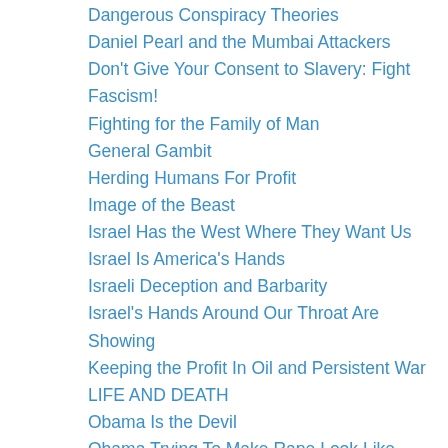Dangerous Conspiracy Theories
Daniel Pearl and the Mumbai Attackers
Don't Give Your Consent to Slavery: Fight Fascism!
Fighting for the Family of Man
General Gambit
Herding Humans For Profit
Image of the Beast
Israel Has the West Where They Want Us
Israel Is America's Hands
Israeli Deception and Barbarity
Israel's Hands Around Our Throat Are Showing
Keeping the Profit In Oil and Persistent War
LIFE AND DEATH
Obama Is the Devil
Obama Trying To Make Rape Look Like Seduction
Outside Agitation In Kyrgyzstan
Overcoming Human Nature: The Revolution of the Meek
PRETTY WOMEN, THE CIA AND SOMALIAN PIRATES
Qassams Are Road Flares
SELL-OUT OR DIE